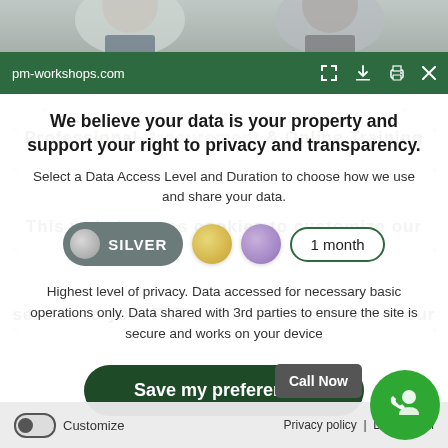[Figure (screenshot): Top photo strip showing partial faces of people in professional setting]
pm-workshops.com
We believe your data is your property and support your right to privacy and transparency.
Select a Data Access Level and Duration to choose how we use and share your data.
[Figure (infographic): Privacy level selector showing SILVER button (active, dark teal), gold circle, purple circle, and 1 month duration button]
Highest level of privacy. Data accessed for necessary basic operations only. Data shared with 3rd parties to ensure the site is secure and works on your device
Save my preferences
Call Now
Customize   Privacy policy  |  Do Not Sell